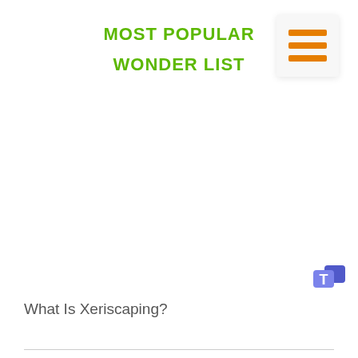MOST POPULAR WONDER LIST
[Figure (other): Hamburger menu icon with three orange horizontal lines on a light grey rounded square background]
#2286
[Figure (logo): Microsoft Teams logo icon, purple/blue with T symbol]
What Is Xeriscaping?